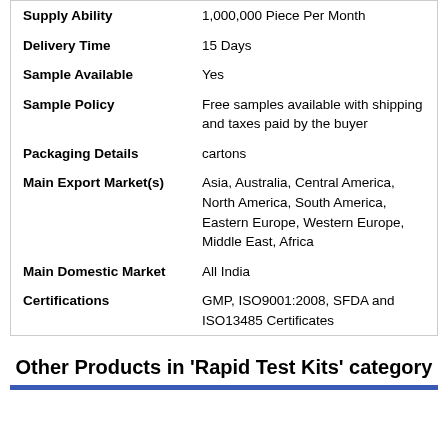| Field | Value |
| --- | --- |
| Supply Ability | 1,000,000 Piece Per Month |
| Delivery Time | 15 Days |
| Sample Available | Yes |
| Sample Policy | Free samples available with shipping and taxes paid by the buyer |
| Packaging Details | cartons |
| Main Export Market(s) | Asia, Australia, Central America, North America, South America, Eastern Europe, Western Europe, Middle East, Africa |
| Main Domestic Market | All India |
| Certifications | GMP, ISO9001:2008, SFDA and ISO13485 Certificates |
Other Products in 'Rapid Test Kits' category